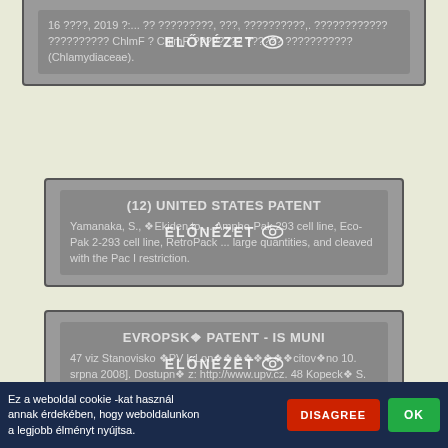16 ????, 2019 ?:... ?? ?????????, ???, ??????????,. ???????????? ?????????? ChlmF ? ChlmR ???????? ?????? ??????????? (Chlamydiaceae).
(12) UNITED STATES PATENT
Yamanaka, S., ❖Ekiden to ... Ampho-Pak 293 cell line, Eco-Pak 2-293 cell line, RetroPack ... large quantities, and cleaved with the Pac I restriction.
EVROPSK❖ PATENT - IS MUNI
47 viz Stanovisko ❖PV k Lon❖❖❖❖❖❖❖❖citov❖no 10. srpna 2008]. Dostupn❖ z: http://www.upv.cz. 48 Kopeck❖ S. ❖?inn❖ ochrana du❖evn❖ho vlastnictv❖- v❖zva pro❖...
Ez a weboldal cookie -kat használ annak érdekében, hogy weboldalunkon a legjobb élményt nyújtsa.